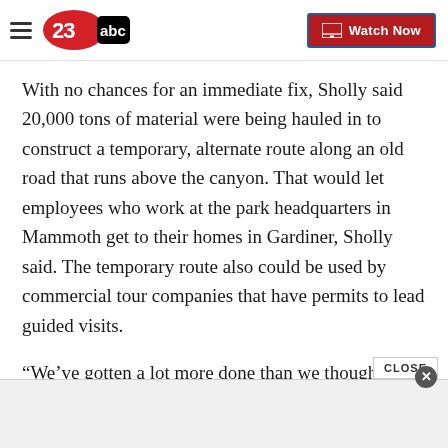23abc — Watch Now
With no chances for an immediate fix, Sholly said 20,000 tons of material were being hauled in to construct a temporary, alternate route along an old road that runs above the canyon. That would let employees who work at the park headquarters in Mammoth get to their homes in Gardiner, Sholly said. The temporary route also could be used by commercial tour companies that have permits to lead guided visits.
“We’ve gotten a lot more done than we thought we would a week ago,” Sholly said. “It’s going to be a